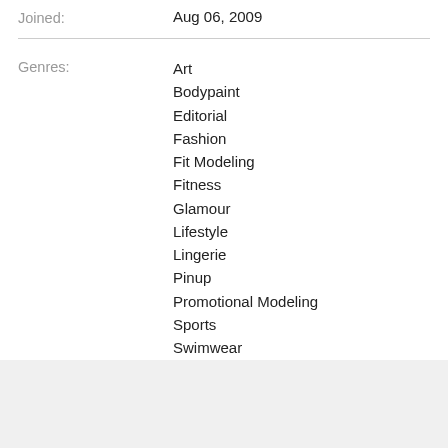Joined: Aug 06, 2009
Art
Bodypaint
Editorial
Fashion
Fit Modeling
Fitness
Glamour
Lifestyle
Lingerie
Pinup
Promotional Modeling
Sports
Swimwear